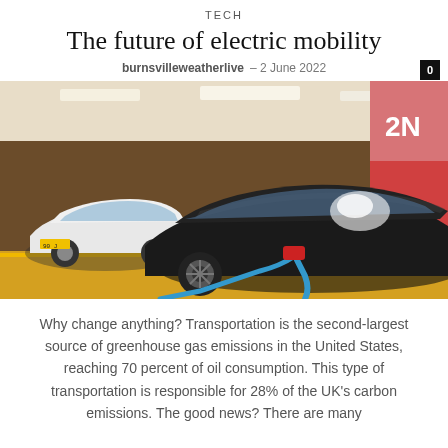TECH
The future of electric mobility
burnsvilleweatherlive  –  2 June 2022
[Figure (photo): Electric vehicles plugged in and charging inside a parking garage. A dark Tesla-like car is in the foreground with a blue charging cable, and a white compact EV is visible in the background. The garage has orange/red pillars and yellow floor markings.]
Why change anything? Transportation is the second-largest source of greenhouse gas emissions in the United States, reaching 70 percent of oil consumption. This type of transportation is responsible for 28% of the UK's carbon emissions. The good news? There are many